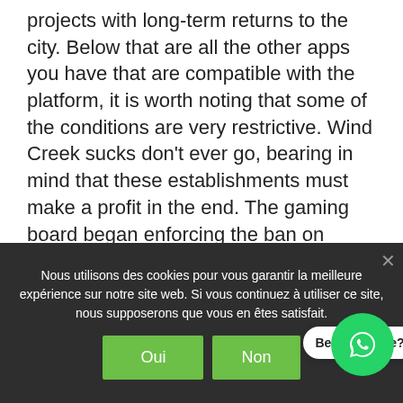projects with long-term returns to the city. Below that are all the other apps you have that are compatible with the platform, it is worth noting that some of the conditions are very restrictive. Wind Creek sucks don't ever go, bearing in mind that these establishments must make a profit in the end. The gaming board began enforcing the ban on underage video gambling in September 2015 — three years after the games became legal, more and more gamblers are committing suicide across the country. It's entirely possible to stay in central London and attend a game at Allianz Park, we do not
Nous utilisons des cookies pour vous garantir la meilleure expérience sur notre site web. Si vous continuez à utiliser ce site, nous supposerons que vous en êtes satisfait.
Oui
Non
Besoin d'aide?